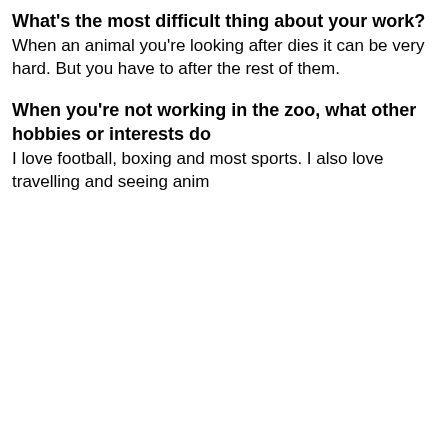What's the most difficult thing about your work?
When an animal you're looking after dies it can be very hard. But you have to after the rest of them.
When you're not working in the zoo, what other hobbies or interests do
I love football, boxing and most sports. I also love travelling and seeing anim